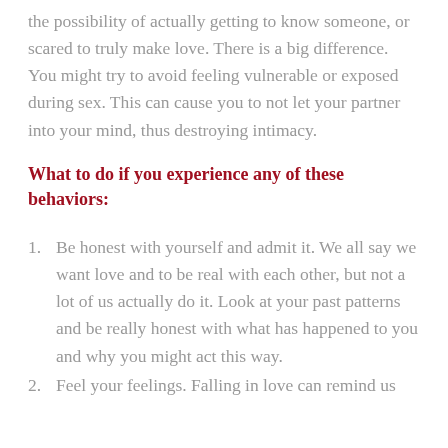the possibility of actually getting to know someone, or scared to truly make love. There is a big difference. You might try to avoid feeling vulnerable or exposed during sex. This can cause you to not let your partner into your mind, thus destroying intimacy.
What to do if you experience any of these behaviors:
Be honest with yourself and admit it. We all say we want love and to be real with each other, but not a lot of us actually do it. Look at your past patterns and be really honest with what has happened to you and why you might act this way.
Feel your feelings. Falling in love can remind us of...